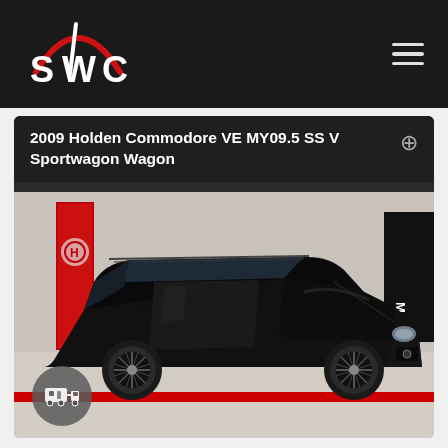[Figure (logo): SWC logo: white stylized SWC lettering with red arc above on black background]
2009 Holden Commodore VE MY09.5 SS V Sportwagon Wagon
[Figure (photo): Black 2009 Holden Commodore VE SS V Sportwagon photographed in a dealership showroom. Red Holden banner and Mazda banner visible in background. Car has dark alloy wheels and is viewed from a front-left angle.]